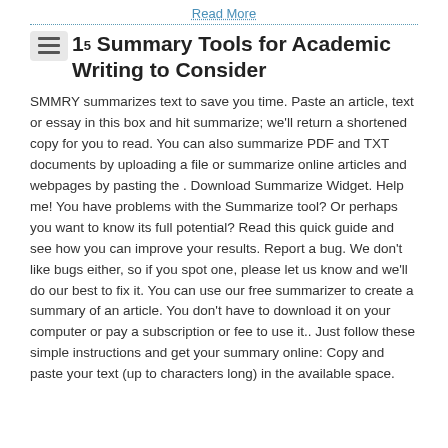Read More
15 Summary Tools for Academic Writing to Consider
SMMRY summarizes text to save you time. Paste an article, text or essay in this box and hit summarize; we'll return a shortened copy for you to read. You can also summarize PDF and TXT documents by uploading a file or summarize online articles and webpages by pasting the . Download Summarize Widget. Help me! You have problems with the Summarize tool? Or perhaps you want to know its full potential? Read this quick guide and see how you can improve your results. Report a bug. We don't like bugs either, so if you spot one, please let us know and we'll do our best to fix it. You can use our free summarizer to create a summary of an article. You don't have to download it on your computer or pay a subscription or fee to use it.. Just follow these simple instructions and get your summary online: Copy and paste your text (up to characters long) in the available space.